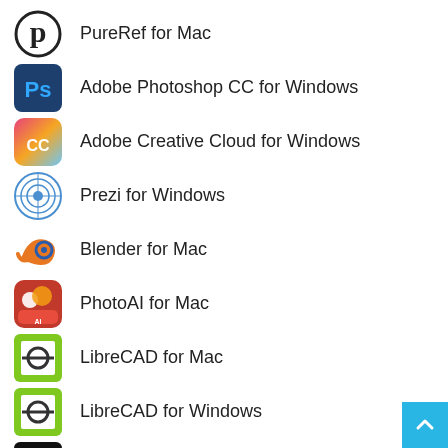PureRef for Mac
Adobe Photoshop CC for Windows
Adobe Creative Cloud for Windows
Prezi for Windows
Blender for Mac
PhotoAI for Mac
LibreCAD for Mac
LibreCAD for Windows
iClone for Windows
DAZ Studio for Windows